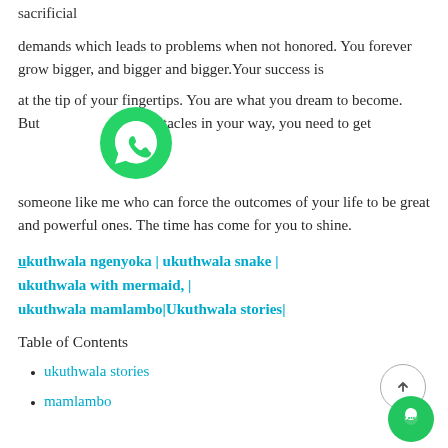sacrificial
demands which leads to problems when not honored. You forever grow bigger, and bigger and bigger.Your success is
at the tip of your fingertips. You are what you dream to become. But [whatsapp icon] of obstacles in your way, you need to get
[Figure (logo): WhatsApp green circle logo]
someone like me who can force the outcomes of your life to be great and powerful ones. The time has come for you to shine.
ukuthwala ngenyoka | ukuthwala snake | ukuthwala with mermaid, | ukuthwala mamlambo|Ukuthwala stories|
Table of Contents
ukuthwala stories
mamlambo